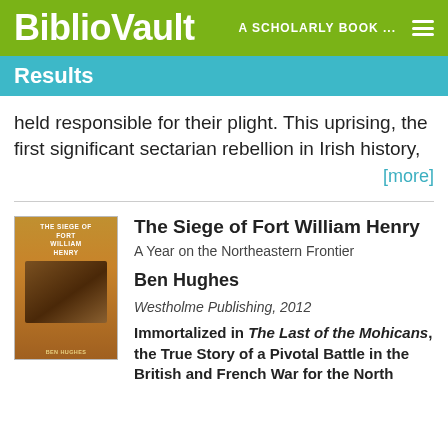BiblioVault  A SCHOLARLY BOOK ...
Results
held responsible for their plight. This uprising, the first significant sectarian rebellion in Irish history,
[more]
[Figure (photo): Book cover of The Siege of Fort William Henry by Ben Hughes, published by Westholme Publishing]
The Siege of Fort William Henry
A Year on the Northeastern Frontier
Ben Hughes
Westholme Publishing, 2012
Immortalized in The Last of the Mohicans, the True Story of a Pivotal Battle in the British and French War for the North